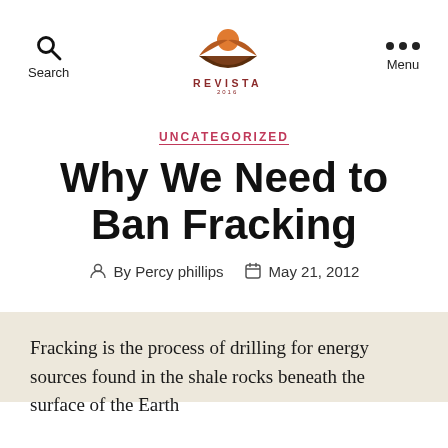Search | REVISTA | Menu
UNCATEGORIZED
Why We Need to Ban Fracking
By Percy phillips   May 21, 2012
Fracking is the process of drilling for energy sources found in the shale rocks beneath the surface of the Earth